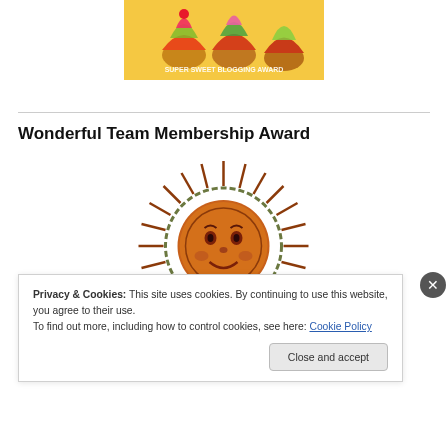[Figure (photo): Colorful cupcakes photo with 'Super Sweet Blogging Award' text overlay]
Wonderful Team Membership Award
[Figure (illustration): Decorative sun face illustration with ornate rays in copper/bronze tones]
Privacy & Cookies: This site uses cookies. By continuing to use this website, you agree to their use.
To find out more, including how to control cookies, see here: Cookie Policy
Close and accept